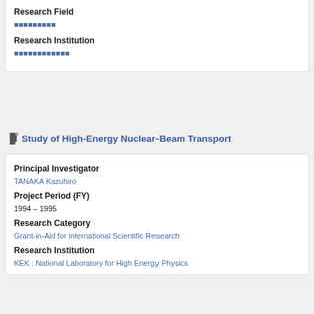Research Field
■■■■■■■■■
Research Institution
■■■■■■■■■■■■
Study of High-Energy Nuclear-Beam Transport
Principal Investigator
TANAKA Kazuhiro
Project Period (FY)
1994 – 1995
Research Category
Grant-in-Aid for international Scientific Research
Research Institution
KEK : National Laboratory for High Energy Physics